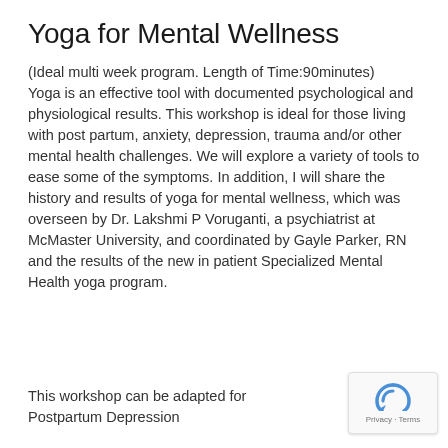Yoga for Mental Wellness
(Ideal multi week program. Length of Time:90minutes)
Yoga is an effective tool with documented psychological and physiological results. This workshop is ideal for those living with post partum, anxiety, depression, trauma and/or other mental health challenges. We will explore a variety of tools to ease some of the symptoms. In addition, I will share the history and results of yoga for mental wellness, which was overseen by Dr. Lakshmi P Voruganti, a psychiatrist at McMaster University, and coordinated by Gayle Parker, RN and the results of the new in patient Specialized Mental Health yoga program.
This workshop can be adapted for Postpartum Depression